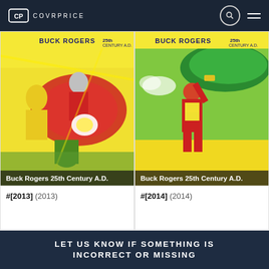COVRPRICE
[Figure (illustration): Comic book cover for Buck Rogers 25th Century A.D. showing action scene with characters fighting near a futuristic vehicle, yellow and green color scheme]
Buck Rogers 25th Century A.D.
#[2013] (2013)
[Figure (illustration): Comic book cover for Buck Rogers 25th Century A.D. showing a hero in red and yellow suit raising a weapon, green vehicle in background]
Buck Rogers 25th Century A.D.
#[2014] (2014)
LET US KNOW IF SOMETHING IS INCORRECT OR MISSING